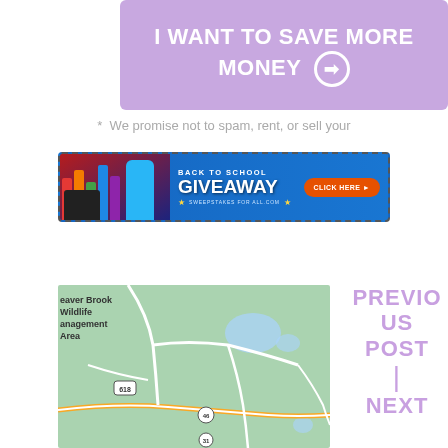[Figure (infographic): Purple banner with white bold text reading 'I WANT TO SAVE MORE MONEY' with a circled arrow icon]
*  We promise not to spam, rent, or sell your
[Figure (infographic): Back to School Giveaway advertisement banner with school supplies image, orange 'CLICK HERE' button, and sweepstakesforall.com branding]
[Figure (map): Google Maps showing Beaver Brook Wildlife Management Area with Route 618, Route 46, Route 31, and surrounding roads]
PREVIOUS POST | NEXT